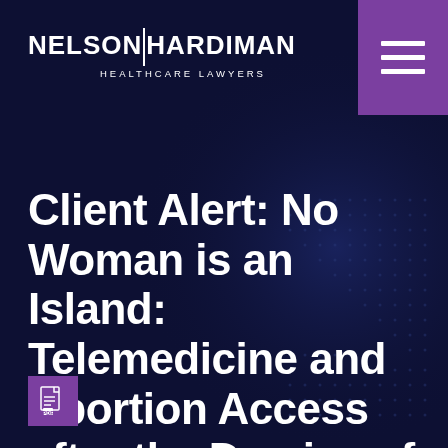[Figure (logo): Nelson Hardiman Healthcare Lawyers logo in white text on dark navy background]
[Figure (other): Purple hamburger menu icon box in top right corner]
Client Alert: No Woman is an Island: Telemedicine and Abortion Access after the Demise of Roe v. Wade
[Figure (other): Purple PDF document icon box in bottom left corner]